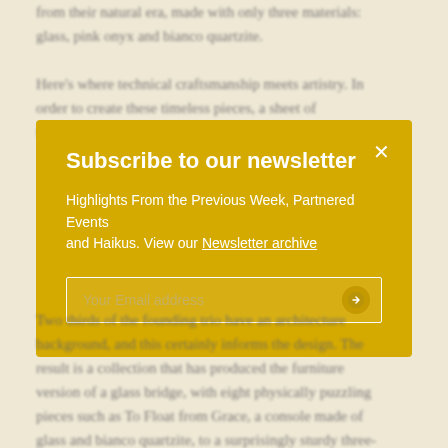from their natural era, made with only three materials: glass, pink onyx and bianco quartzite.
Here’s where technical craftsmanship meets artistry. In order to create these timeless pieces, a sheet of tempered glass is laminated between two layers of onyx.
[Figure (screenshot): Newsletter subscription modal overlay with yellow/gold background. Contains title 'Subscribe to our newsletter', description text about Highlights From the Previous Week, Partnered Events and Haikus with a Newsletter archive link, and an email input field with submit arrow button. An X close button is in the top right corner.]
Two thirds of the founding trio have an architecture background, and this certainly informs the design. The result is a collection that has produced the furniture version of a glass bridge, with eight physically puzzling pieces such as To Float from Grace, a console made of glass and bianco quartzite, to a surprisingly sturdy three-